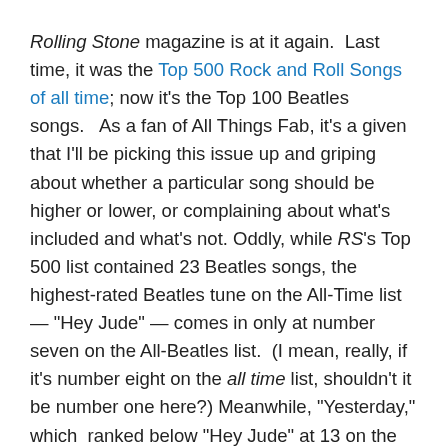Rolling Stone magazine is at it again.  Last time, it was the Top 500 Rock and Roll Songs of all time; now it's the Top 100 Beatles songs.   As a fan of All Things Fab, it's a given that I'll be picking this issue up and griping about whether a particular song should be higher or lower, or complaining about what's included and what's not. Oddly, while RS's Top 500 list contained 23 Beatles songs, the highest-rated Beatles tune on the All-Time list — "Hey Jude" — comes in only at number seven on the All-Beatles list.  (I mean, really, if it's number eight on the all time list, shouldn't it be number one here?) Meanwhile, "Yesterday," which  ranked below "Hey Jude" at 13 on the All-Time list, is four spots about "Jude" on the Beatles list at number four.  So much for internal consistencies.

In general, I agree with the overall content of the top ten